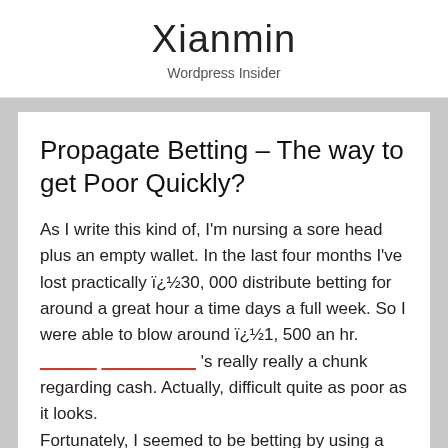Xianmin
Wordpress Insider
Propagate Betting – The way to get Poor Quickly?
As I write this kind of, I'm nursing a sore head plus an empty wallet. In the last four months I've lost practically ï¿½30, 000 distribute betting for around a great hour a time days a full week. So I were able to blow around ï¿½1, 500 an hr. ______ __________ 's really really a chunk regarding cash. Actually, difficult quite as poor as it looks. Fortunately, I seemed to be betting by using a